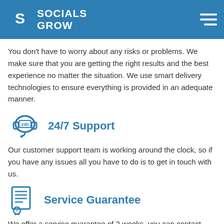SOCIALS GROW
You don't have to worry about any risks or problems. We make sure that you are getting the right results and the best experience no matter the situation. We use smart delivery technologies to ensure everything is provided in an adequate manner.
24/7 Support
Our customer support team is working around the clock, so if you have any issues all you have to do is to get in touch with us.
Service Guarantee
We offer a service guarantee of 2 weeks, you can contact